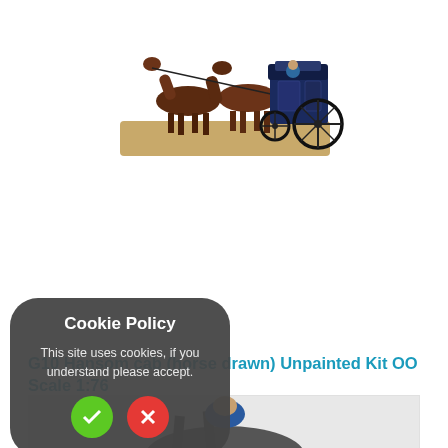[Figure (photo): Photo of a Hansom cab horse-drawn carriage model, painted, with two horses and a dark blue carriage with large spoked wheels, on a sandy/brown base.]
G10 Hansom cab (horse drawn) Unpainted Kit OO Scale 1:76
Hansom cab driver and horse Unpainted Kit..
£15.20
Ex Tax:£12.67
[Figure (screenshot): Cookie Policy dialog overlay. Title: Cookie Policy. Text: This site uses cookies, if you understand please accept. Two buttons: green checkmark (accept) and red X (reject).]
[Figure (photo): Partial photo of another model figure at the bottom of the page, partially cropped.]